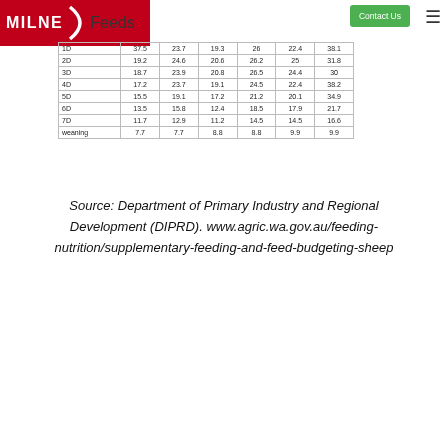MILNE Feeds | Contact Us
| 1D | 37.5 | 23.7 | 19.3 | 26 | 22.4 | 38.1 |
| 2D | 19.2 | 24.6 | 20.6 | 26.2 | 25 | 31.8 |
| 3D | 18.7 | 23.9 | 20.8 | 26.5 | 24.4 | 30 |
| 4D | 17.2 | 23.7 | 19.1 | 24.5 | 22.4 | 38.2 |
| 5D | 15.5 | 19.1 | 17.2 | 21.2 | 20.1 | 34.9 |
| 6D | 13.5 | 15.8 | 12.4 | 18.5 | 17.9 | 21.7 |
| 7D | 11.7 | 12.9 | 11.2 | 14.5 | 14.5 | 16.6 |
| weaning | 7.7 | 7.7 | 8.8 | 8.8 | 9.9 | 9.9 |
Source: Department of Primary Industry and Regional Development (DIPRD). www.agric.wa.gov.au/feeding-nutrition/supplementary-feeding-and-feed-budgeting-sheep